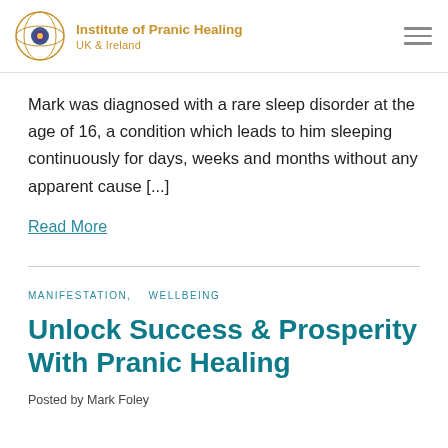Institute of Pranic Healing UK & Ireland
Mark was diagnosed with a rare sleep disorder at the age of 16, a condition which leads to him sleeping continuously for days, weeks and months without any apparent cause [...]
Read More
MANIFESTATION,   WELLBEING
Unlock Success & Prosperity With Pranic Healing
Posted by Mark Foley